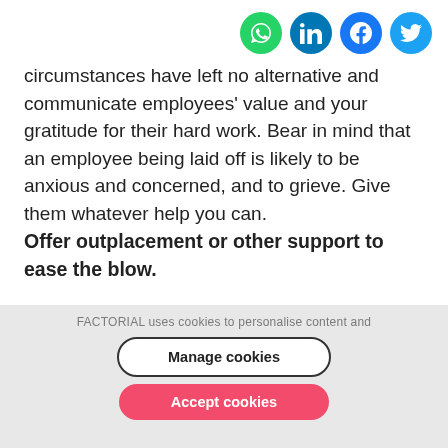[Figure (other): Row of four social sharing icons (WhatsApp green, LinkedIn blue, Facebook blue, Twitter light blue) as circular buttons in the top-right corner]
circumstances have left no alternative and communicate employees' value and your gratitude for their hard work. Bear in mind that an employee being laid off is likely to be anxious and concerned, and to grieve. Give them whatever help you can.
Offer outplacement or other support to ease the blow.
FACTORIAL uses cookies to personalise content and
Manage cookies
Accept cookies